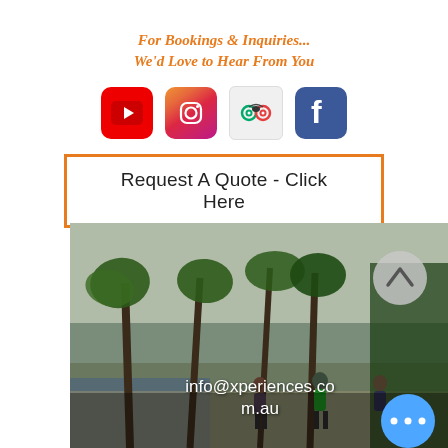For Bookings & Inquiries...
We'd Love to Hear From You
[Figure (infographic): Four social media icons in a row: YouTube (red), Instagram (gradient pink/purple), TripAdvisor (gray), Facebook (blue)]
Request A Quote - Click Here
[Figure (photo): Outdoor photo of people running/walking on a sandy path lined with palm trees and tropical vegetation, near water. Email address info@xperiences.com.au overlaid at the bottom.]